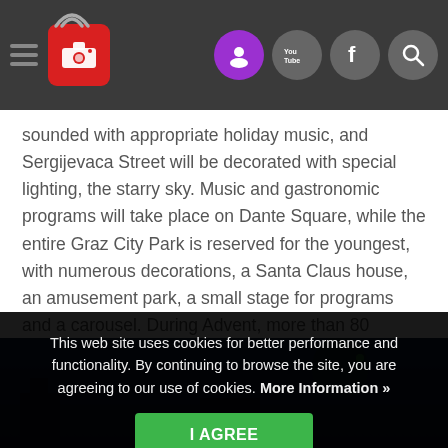Navigation bar with hamburger menu, camera logo, and social/search icons
sounded with appropriate holiday music, and Sergijevaca Street will be decorated with special lighting, the starry sky. Music and gastronomic programs will take place on Dante Square, while the entire Graz City Park is reserved for the youngest, with numerous decorations, a Santa Claus house, an amusement park, a small stage for programs and a carousel. During Advent, more than 80 programs will be held, of which both traditional and new in the Istrian National Theater, Advent in the Cathedral and the Feast of St. Nicholas at Bunarina. And on December 4, the skating rink at the Forum opens right in front of the city palace.
[Figure (photo): Nighttime outdoor photo with dark blue sky and illuminated structures, partially visible under the cookie consent banner]
This web site uses cookies for better performance and functionality. By continuing to browse the site, you are agreeing to our use of cookies. More Information »
I AGREE